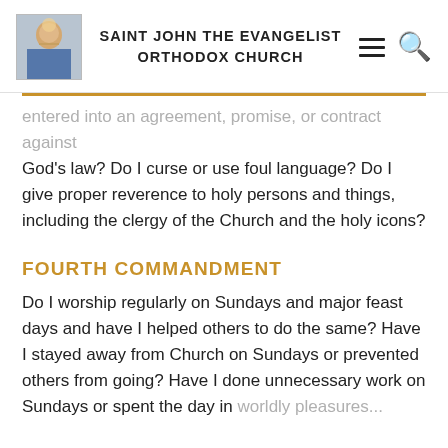SAINT JOHN THE EVANGELIST ORTHODOX CHURCH
entered into an agreement, promise, or contract against God's law? Do I curse or use foul language? Do I give proper reverence to holy persons and things, including the clergy of the Church and the holy icons?
FOURTH COMMANDMENT
Do I worship regularly on Sundays and major feast days and have I helped others to do the same? Have I stayed away from Church on Sundays or prevented others from going? Have I done unnecessary work on Sundays or spent the day in worldly pleasures for his own profit or his...